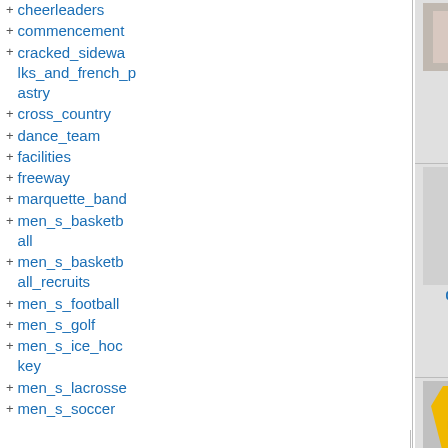+ cheerleaders
+ commencement
+ cracked_sidewalks_and_french_pastry
+ cross_country
+ dance_team
+ facilities
+ freeway
+ marquette_band
+ men_s_basketball
+ men_s_basketball_recruits
+ men_s_football
+ men_s_golf
+ men_s_ice_hockey
+ men_s_lacrosse
+ men_s_soccer
[Figure (screenshot): File browser grid showing image thumbnails: 01-03.jpg (350×350, 2020/12/07 16:48, 57.7 KB), 0407blue... (509×670, 2020/12/07 16:48, 50.4 KB), 0407bluef... (800×636, 2020/12/07 16:48, 56.2 KB), 0407gold... with yellow basketball jersey SMITH #4 (513×711, 2020/12/07 16:48, 39.8 KB), and partial third column entries. Bottom row shows a yellow Marquette jersey thumbnail.]